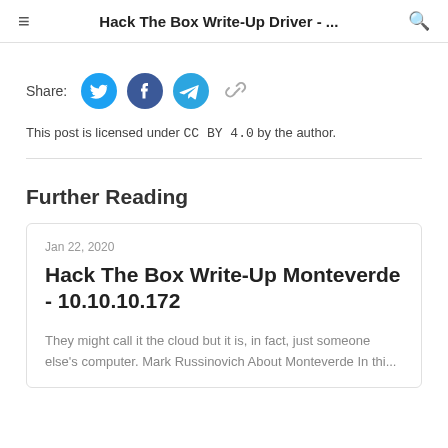Hack The Box Write-Up Driver - ...
Share:
This post is licensed under CC BY 4.0 by the author.
Further Reading
Jan 22, 2020
Hack The Box Write-Up Monteverde - 10.10.10.172
They might call it the cloud but it is, in fact, just someone else's computer. Mark Russinovich About Monteverde In thi...